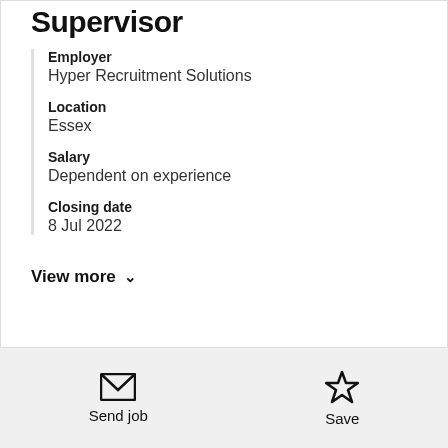Supervisor
Employer
Hyper Recruitment Solutions
Location
Essex
Salary
Dependent on experience
Closing date
8 Jul 2022
View more
Send job
Save